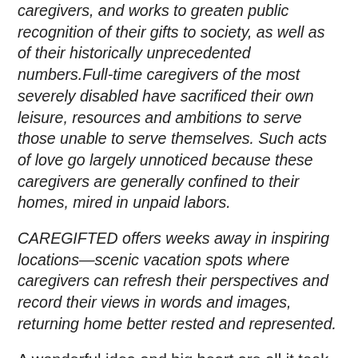caregivers, and works to greaten public recognition of their gifts to society, as well as of their historically unprecedented numbers.Full-time caregivers of the most severely disabled have sacrificed their own leisure, resources and ambitions to serve those unable to serve themselves. Such acts of love go largely unnoticed because these caregivers are generally confined to their homes, mired in unpaid labors.
CAREGIFTED offers weeks away in inspiring locations—scenic vacation spots where caregivers can refresh their perspectives and record their views in words and images, returning home better rested and represented.
A wonderful idea and big heart are all it took to get the idea off the ground. Recipients say it's the little things during their getaways that mean the most. From caregiver [continues]